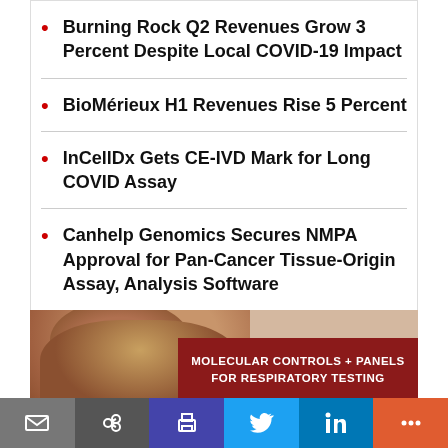Burning Rock Q2 Revenues Grow 3 Percent Despite Local COVID-19 Impact
BioMérieux H1 Revenues Rise 5 Percent
InCellDx Gets CE-IVD Mark for Long COVID Assay
Canhelp Genomics Secures NMPA Approval for Pan-Cancer Tissue-Origin Assay, Analysis Software
Thermo Fisher Scientific Obtains CE-IVD Mark for Targeted NGS Oncology Test, Analysis Software
[Figure (photo): Advertisement banner showing a person with curly hair and a dark red box with text: MOLECULAR CONTROLS + PANELS FOR RESPIRATORY TESTING]
Email | Share | Print | Twitter | LinkedIn | More